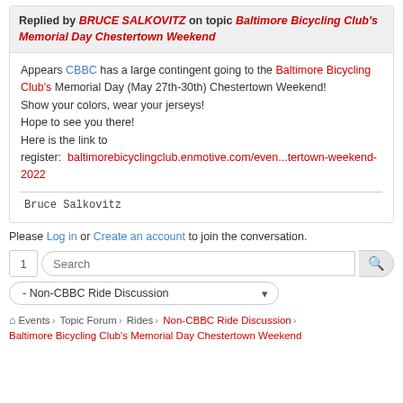Replied by BRUCE SALKOVITZ on topic Baltimore Bicycling Club's Memorial Day Chestertown Weekend
Appears CBBC has a large contingent going to the Baltimore Bicycling Club's Memorial Day (May 27th-30th) Chestertown Weekend!
Show your colors, wear your jerseys!
Hope to see you there!
Here is the link to register:  baltimorebicyclingclub.enmotive.com/even...tertown-weekend-2022
Bruce Salkovitz
Please Log in or Create an account to join the conversation.
1  Search
- Non-CBBC Ride Discussion
Events › Topic Forum › Rides › Non-CBBC Ride Discussion ›
Baltimore Bicycling Club's Memorial Day Chestertown Weekend